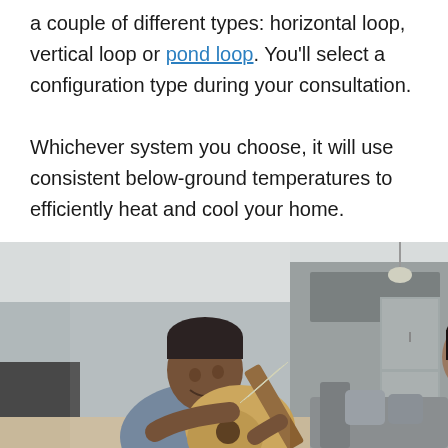a couple of different types: horizontal loop, vertical loop or pond loop. You'll select a configuration type during your consultation.

Whichever system you choose, it will use consistent below-ground temperatures to efficiently heat and cool your home.
[Figure (photo): A man smiling and playing an acoustic guitar in a living room, with a woman visible in the background near a kitchen area.]